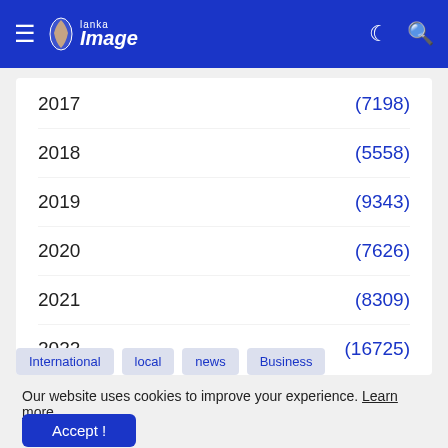Lanka Image
2017 (7198)
2018 (5558)
2019 (9343)
2020 (7626)
2021 (8309)
2022 (16725)
International  local  news  Business
Our website uses cookies to improve your experience. Learn more
Accept !